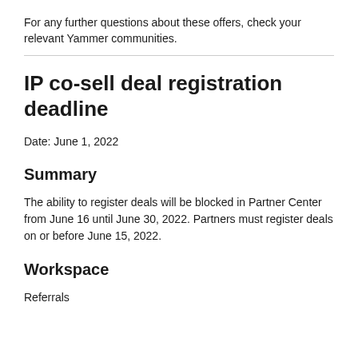For any further questions about these offers, check your relevant Yammer communities.
IP co-sell deal registration deadline
Date: June 1, 2022
Summary
The ability to register deals will be blocked in Partner Center from June 16 until June 30, 2022. Partners must register deals on or before June 15, 2022.
Workspace
Referrals